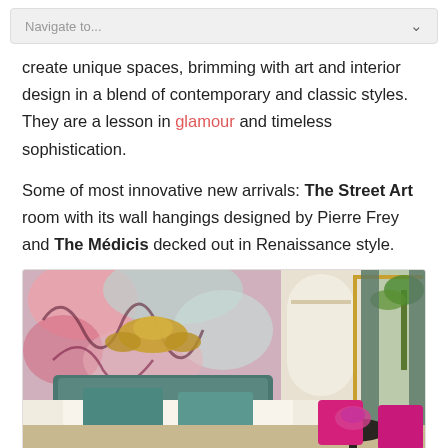Navigate to...
create unique spaces, brimming with art and interior design in a blend of contemporary and classic styles. They are a lesson in glamour and timeless sophistication.
Some of most innovative new arrivals: The Street Art room with its wall hangings designed by Pierre Frey and The Médicis decked out in Renaissance style.
[Figure (photo): Hotel room with ornate floral wall mural in pink and teal tones, gold baroque ornament above the headboard, teal velvet bedding and pillows on a large bed, two magenta/hot pink chairs at a round black table, floor-to-ceiling window with gold frame looking out to a palm tree and garden.]